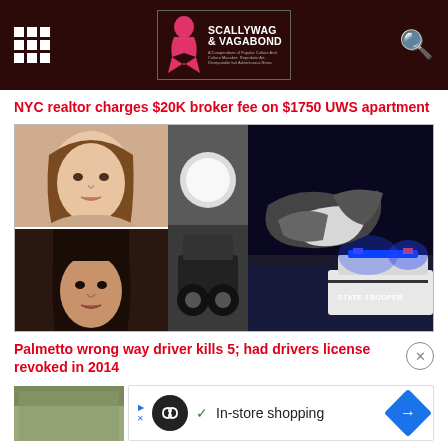Scallywag & Vagabond
NYC realtor charges $20K broker fee on $1750 UWS apartment
[Figure (photo): Collage of two young women's portrait photos on the left, a partial car photo in the middle, and a night scene of a crashed vehicle with a State Trooper police car with blue lights on the right]
Palmetto wrong way driver kills 5; had drivers license revoked in 2014
[Figure (screenshot): Advertisement strip showing logo, checkmark, 'In-store shopping' text, and a blue diamond arrow icon]